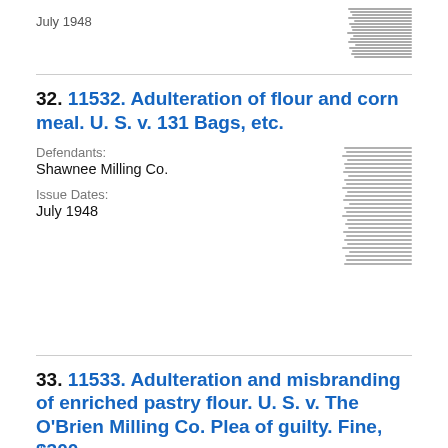July 1948
[Figure (other): Thumbnail image of a document page showing dense text lines]
32. 11532. Adulteration of flour and corn meal. U. S. v. 131 Bags, etc.
Defendants:
Shawnee Milling Co.
Issue Dates:
July 1948
[Figure (other): Thumbnail image of a document page showing dense text lines]
33. 11533. Adulteration and misbranding of enriched pastry flour. U. S. v. The O'Brien Milling Co. Plea of guilty. Fine, $300.